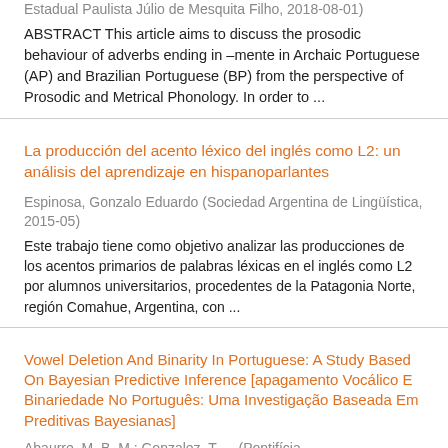Estadual Paulista Júlio de Mesquita Filho, 2018-08-01)
ABSTRACT This article aims to discuss the prosodic behaviour of adverbs ending in &#8211;mente in Archaic Portuguese (AP) and Brazilian Portuguese (BP) from the perspective of Prosodic and Metrical Phonology. In order to ...
La producción del acento léxico del inglés como L2: un análisis del aprendizaje en hispanoparlantes
Espinosa, Gonzalo Eduardo (Sociedad Argentina de Lingüística, 2015-05)
Este trabajo tiene como objetivo analizar las producciones de los acentos primarios de palabras léxicas en el inglés como L2 por alumnos universitarios, procedentes de la Patagonia Norte, región Comahue, Argentina, con ...
Vowel Deletion And Binarity In Portuguese: A Study Based On Bayesian Predictive Inference [apagamento Vocálico E Binariedade No Português: Uma Investigação Baseada Em Preditivas Bayesianas]
Abaurre, M. B. M.; Gonzalez, T. ... (Pontifícia ...